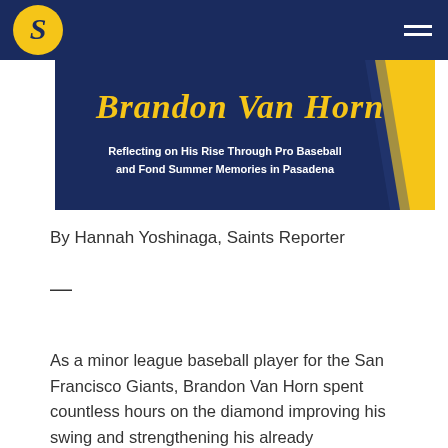Navigation bar with Saints logo and hamburger menu
[Figure (illustration): Banner image with dark navy blue background and yellow diagonal stripe. Script/italic title text 'Brandon Van Horn' in gold/yellow. Subtitle text: 'Reflecting on His Rise Through Pro Baseball and Fond Summer Memories in Pasadena']
By Hannah Yoshinaga, Saints Reporter
—
As a minor league baseball player for the San Francisco Giants, Brandon Van Horn spent countless hours on the diamond improving his swing and strengthening his already...